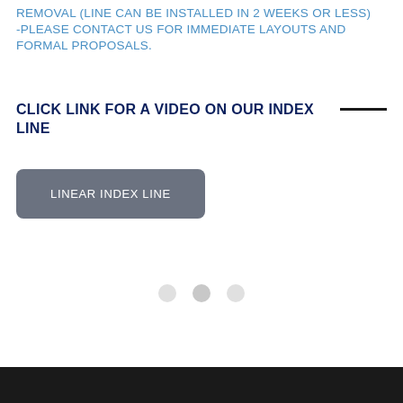REMOVAL (LINE CAN BE INSTALLED IN 2 WEEKS OR LESS)
-PLEASE CONTACT US FOR IMMEDIATE LAYOUTS AND FORMAL PROPOSALS.
CLICK LINK FOR A VIDEO ON OUR INDEX LINE
[Figure (other): Gray rounded rectangle button labeled LINEAR INDEX LINE]
[Figure (other): Three circular dot indicators (slider/carousel dots)]